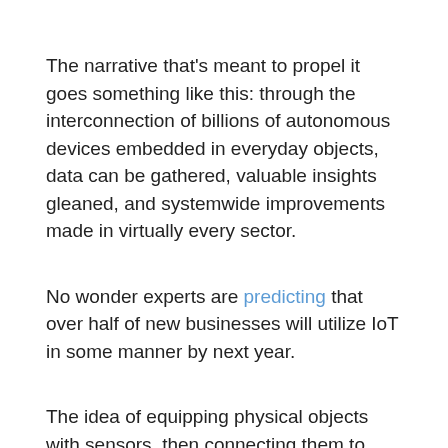The narrative that's meant to propel it goes something like this: through the interconnection of billions of autonomous devices embedded in everyday objects, data can be gathered, valuable insights gleaned, and systemwide improvements made in virtually every sector.
No wonder experts are predicting that over half of new businesses will utilize IoT in some manner by next year.
The idea of equipping physical objects with sensors, then connecting them to devices and systems such as cloud technologies, has more than a touch of science